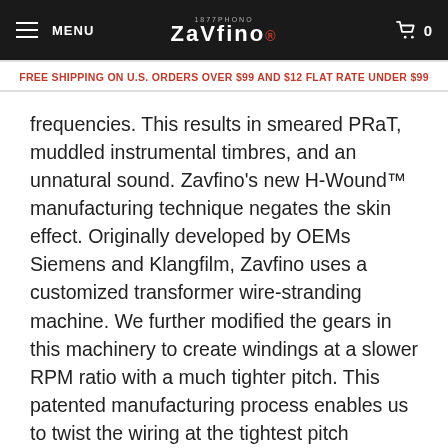MENU | ZAVFINO | 0
FREE SHIPPING ON U.S. ORDERS OVER $99 AND $12 FLAT RATE UNDER $99
frequencies. This results in smeared PRaT, muddled instrumental timbres, and an unnatural sound. Zavfino's new H-Wound™ manufacturing technique negates the skin effect. Originally developed by OEMs Siemens and Klangfilm, Zavfino uses a customized transformer wire-stranding machine. We further modified the gears in this machinery to create windings at a slower RPM ratio with a much tighter pitch. This patented manufacturing process enables us to twist the wiring at the tightest pitch possible without